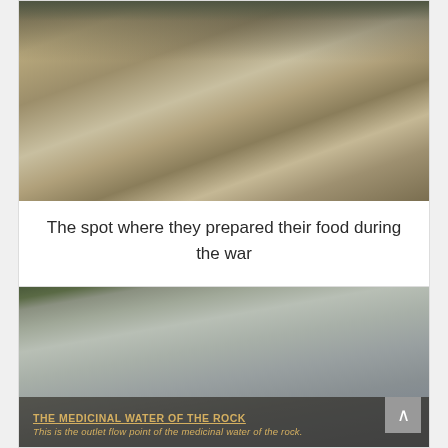[Figure (photo): People crouching around hollowed stone depressions in rock, used for food preparation during war]
The spot where they prepared their food during the war
[Figure (photo): Large grey stone slab with inscription reading 'THE MEDICINAL WATER OF THE ROCK - This is the outlet flow point of the medicinal water of the rock.' Surrounded by green foliage. A scroll-to-top button is visible in bottom right.]